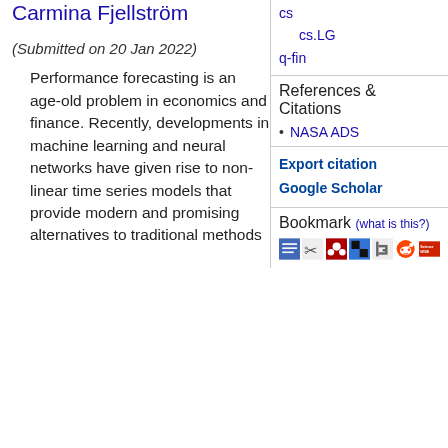cs
    cs.LG
q-fin
References & Citations
NASA ADS
Export citation
Google Scholar
Bookmark (what is this?)
[Figure (other): Bookmark service icons: BibSonomy, CiteULike, Mendeley, Delicious, Digg, Reddit, ScienceWISE]
Carmina Fjellström
(Submitted on 20 Jan 2022)
Performance forecasting is an age-old problem in economics and finance. Recently, developments in machine learning and neural networks have given rise to non-linear time series models that provide modern and promising alternatives to traditional methods